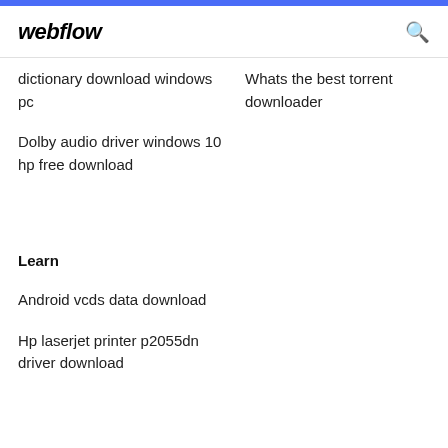webflow
dictionary download windows pc
Whats the best torrent downloader
Dolby audio driver windows 10 hp free download
Learn
Android vcds data download
Hp laserjet printer p2055dn driver download